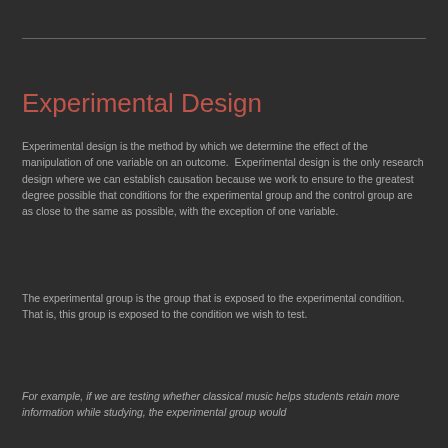Experimental Design
Experimental design is the method by which we determine the effect of the manipulation of one variable on an outcome.  Experimental design is the only research design where we can establish causation because we work to ensure to the greatest degree possible that conditions for the experimental group and the control group are as close to the same as possible, with the exception of one variable.
The experimental group is the group that is exposed to the experimental condition.  That is, this group is exposed to the condition we wish to test.
For example, if we are testing whether classical music helps students retain more information while studying, the experimental group would